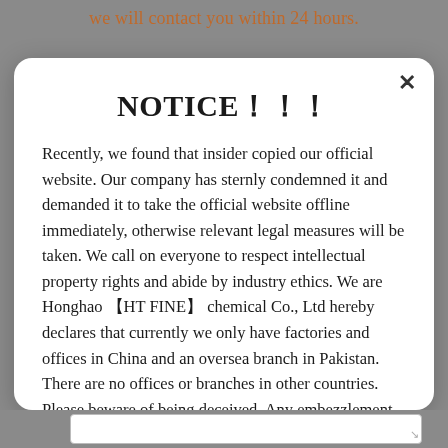we will contact you within 24 hours.
NOTICE！！！
Recently, we found that insider copied our official website. Our company has sternly condemned it and demanded it to take the official website offline immediately, otherwise relevant legal measures will be taken. We call on everyone to respect intellectual property rights and abide by industry ethics. We are Honghao 【HT FINE】 chemical Co., Ltd hereby declares that currently we only have factories and offices in China and an oversea branch in Pakistan. There are no offices or branches in other countries. Please beware of being deceived. Any embezzlement of our website links, product description, pictures, and videos is fake. If found, please contact the official website to confirm the authenticity.